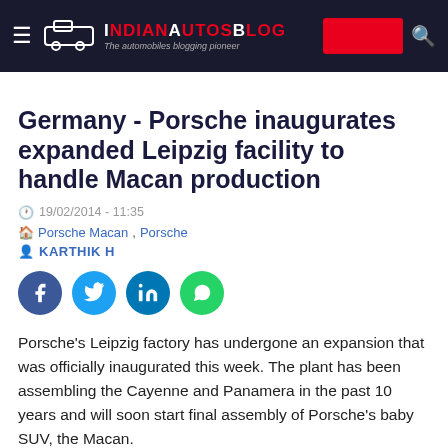IndianAutosBlog - The automobiles blogging pioneer
Germany - Porsche inaugurates expanded Leipzig facility to handle Macan production
19/02/2014 - 11:35
Porsche Macan, Porsche
KARTHIK H
[Figure (infographic): Social sharing buttons: Facebook, Twitter, LinkedIn, WhatsApp]
Porsche's Leipzig factory has undergone an expansion that was officially inaugurated this week. The plant has been assembling the Cayenne and Panamera in the past 10 years and will soon start final assembly of Porsche's baby SUV, the Macan.
[Figure (photo): Gray placeholder image area at bottom of page]